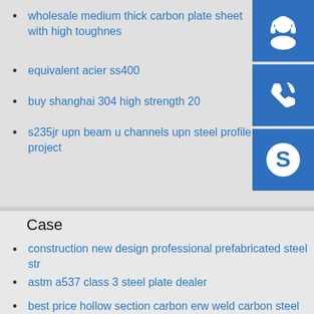wholesale medium thick carbon plate sheet with high toughnes
equivalent acier ss400
buy shanghai 304 high strength 20
s235jr upn beam u channels upn steel profile project
[Figure (illustration): Three blue square icon buttons: customer service headset icon, phone with signal waves icon, and Skype logo icon]
Case
construction new design professional prefabricated steel str
astm a537 class 3 steel plate dealer
best price hollow section carbon erw weld carbon steel pipe